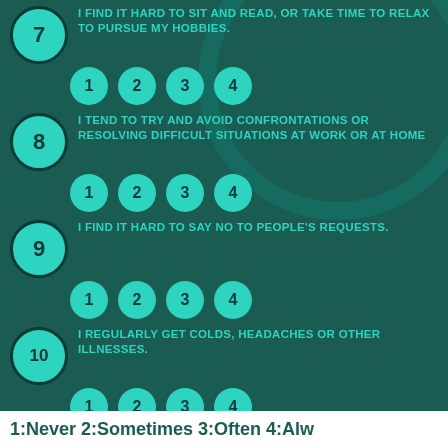7 I FIND IT HARD TO SIT AND READ, OR TAKE TIME TO RELAX TO PURSUE MY HOBBIES.
8 I TEND TO TRY AND AVOID CONFRONTATIONS OR RESOLVING DIFFICULT SITUATIONS AT WORK OR AT HOME
9 I FIND IT HARD TO SAY NO TO PEOPLE'S REQUESTS.
10 I REGULARLY GET COLDS, HEADACHES OR OTHER ILLNESSES.
1:Never 2:Sometimes 3:Often 4:Alw